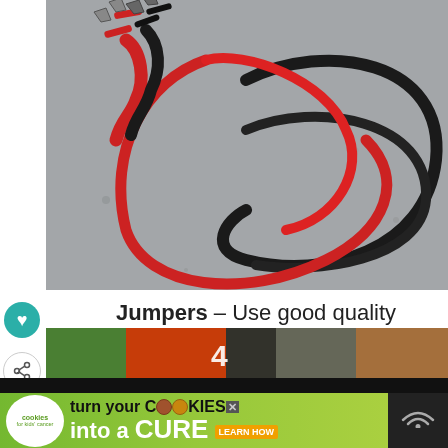[Figure (photo): Jump leads / jumper cables with red and black wires and metal clamps, coiled on a gray concrete surface.]
Jumpers – Use good quality jump leads. These are my old worn-out ones.
[Figure (photo): Advertisement banner for 'cookies for kids cancer' – turn your cookies into a CURE. Green background with white cookie logo and text.]